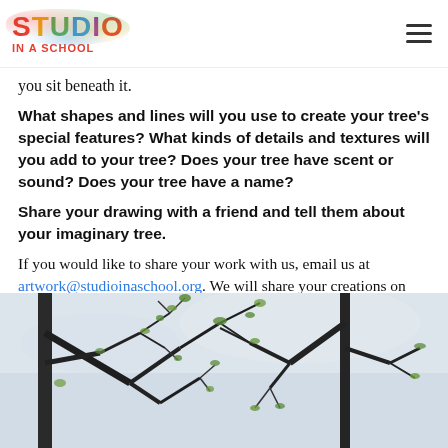STUDIO IN A SCHOOL
you sit beneath it.
What shapes and lines will you use to create your tree's special features? What kinds of details and textures will you add to your tree? Does your tree have scent or sound? Does your tree have a name?
Share your drawing with a friend and tell them about your imaginary tree.
If you would like to share your work with us, email us at artwork@studioinaschool.org. We will share your creations on our 'Studio in Your Home' page.
[Figure (photo): Close-up photograph of bare tree branches with sparse early spring leaves against a light grey sky]